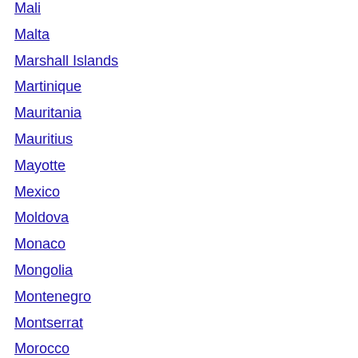Mali
Malta
Marshall Islands
Martinique
Mauritania
Mauritius
Mayotte
Mexico
Moldova
Monaco
Mongolia
Montenegro
Montserrat
Morocco
Mozambique
Myanmar (Burma)
Namibia